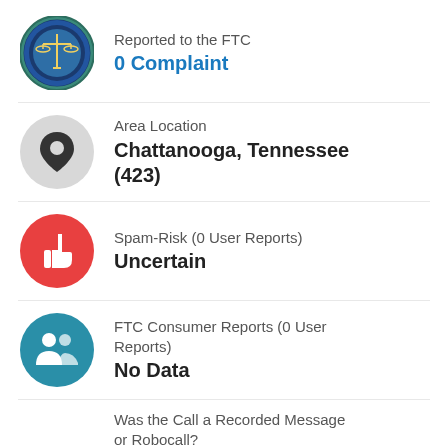[Figure (logo): FTC (Federal Trade Commission) circular seal/logo in blue and green tones]
Reported to the FTC
0 Complaint
[Figure (illustration): Gray circle with black location pin icon]
Area Location
Chattanooga, Tennessee (423)
[Figure (illustration): Red circle with white thumbs-down icon]
Spam-Risk (0 User Reports)
Uncertain
[Figure (illustration): Teal/blue circle with white people/group icon]
FTC Consumer Reports (0 User Reports)
No Data
Was the Call a Recorded Message or Robocall?
0 Yes   0 No   N/